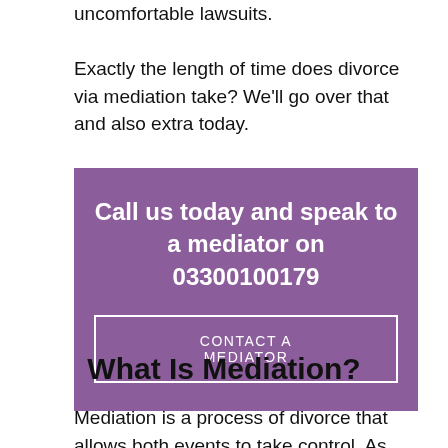uncomfortable lawsuits. Exactly the length of time does divorce via mediation take? We'll go over that and also extra today.
[Figure (infographic): Purple call-to-action box with text 'Call us today and speak to a mediator on 03300100179' and a button labeled 'CONTACT A MEDIATOR']
What Is Mediation?
Mediation is a process of divorce that allows both events to take control. As opposed to